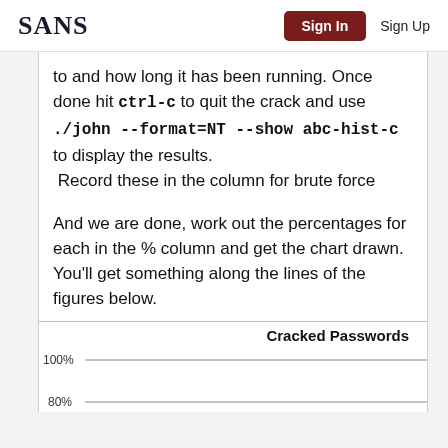SANS | Sign In | Sign Up
to and how long it has been running. Once done hit ctrl-c to quit the crack and use ./john --format=NT --show abc-hist-c to display the results. Record these in the column for brute force
And we are done, work out the percentages for each in the % column and get the chart drawn. You'll get something along the lines of the figures below.
[Figure (bar-chart): Bar chart titled 'Cracked Passwords' showing 100% and 80% gridlines visible at the bottom of the page.]